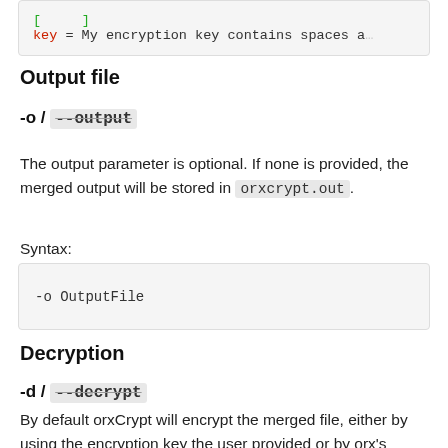[Figure (screenshot): Code block showing: key = My encryption key contains spaces a...]
Output file
-o / --output
The output parameter is optional. If none is provided, the merged output will be stored in orxcrypt.out.
Syntax:
[Figure (screenshot): Code block showing: -o OutputFile]
Decryption
-d / --decrypt
By default orxCrypt will encrypt the merged file, either by using the encryption key the user provided or by orx's...